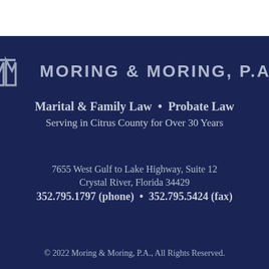[Figure (logo): Moring & Moring P.A. logo — stylized double-M letterform in silver/gray on dark navy background, followed by firm name in uppercase spaced lettering]
Marital & Family Law  •  Probate Law
Serving in Citrus County for Over 30 Years
7655 West Gulf to Lake Highway, Suite 12
Crystal River, Florida 34429
352.795.1797 (phone)  •  352.795.5424 (fax)
© 2022 Moring & Moring, P.A., All Rights Reserved.